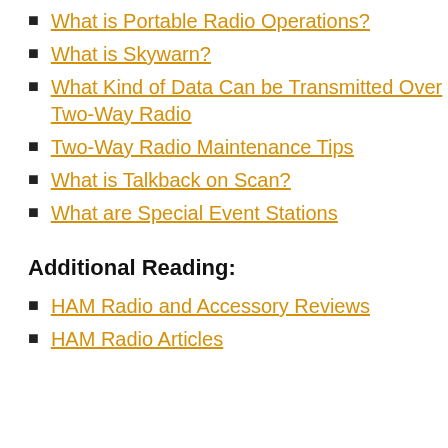What is Portable Radio Operations?
What is Skywarn?
What Kind of Data Can be Transmitted Over Two-Way Radio
Two-Way Radio Maintenance Tips
What is Talkback on Scan?
What are Special Event Stations
Additional Reading:
HAM Radio and Accessory Reviews
HAM Radio Articles